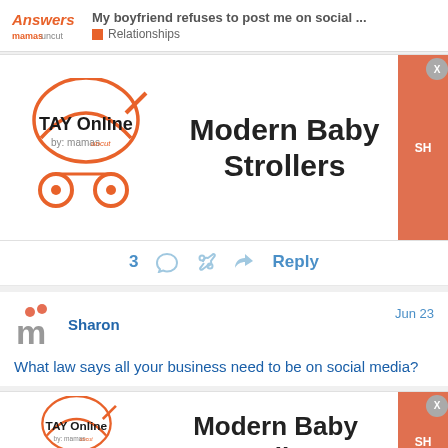My boyfriend refuses to post me on social ... | Relationships
[Figure (screenshot): TAY Online by mamas advertisement for Modern Baby Strollers with orange shop button and close X]
3  ♡  🔗  ↩  Reply
[Figure (illustration): User avatar - letter m with orange dots]
Sharon  Jun 23
What law says all your business need to be on social media?
[Figure (screenshot): TAY Online by mamas advertisement for Modern Baby Strollers with orange shop button - second instance]